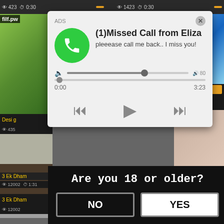[Figure (screenshot): Top bar with video thumbnail page showing view counts 423 and time 0:30]
[Figure (screenshot): Audio advertisement popup: ADS label, phone icon on green circle, text '(1)Missed Call from Eliza', subtitle 'pleeease call me back.. I miss you!', audio progress bar, time 0:00 to 3:23, playback controls (rewind, play, fast-forward), close button X]
[Figure (screenshot): Adult content advertisement popup with left image and right panel showing 'WHAT DO YOU WANT?' with pink WATCH button, Online indicator, three mini thumbnails, text 'Cumming, ass fucking, squirt or... • ADS']
[Figure (screenshot): Age verification dialog: 'Are you 18 or older?' with NO and YES buttons]
Desi g
435
3 Ek Dham
12002
WHAT DO YOU WANT?
WATCH
Online
Cumming, ass fucking, squirt or...
• ADS
Are you 18 or older?
NO
YES
(1)Missed Call from Eliza
pleeease call me back.. I miss you!
ADS
0:00
3:23
filf.pw